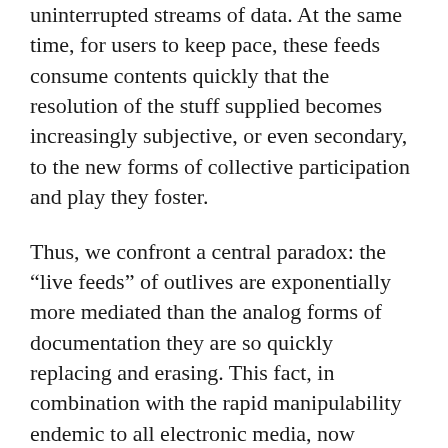uninterrupted streams of data. At the same time, for users to keep pace, these feeds consume contents quickly that the resolution of the stuff supplied becomes increasingly subjective, or even secondary, to the new forms of collective participation and play they foster.
Thus, we confront a central paradox: the “live feeds” of outlives are exponentially more mediated than the analog forms of documentation they are so quickly replacing and erasing. This fact, in combination with the rapid manipulability endemic to all electronic media, now presents us, its users, with radically new conditions of knowledge and imagination.
Under these conditions, real-time platforms for